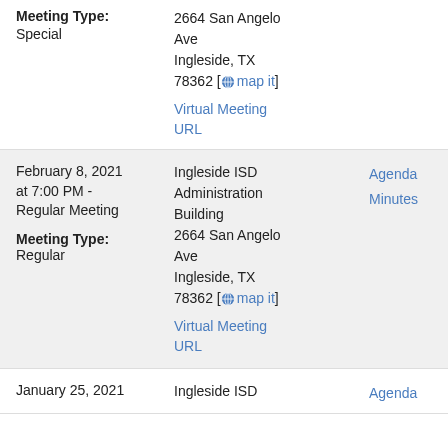Meeting Type: Special
2664 San Angelo Ave
Ingleside, TX 78362 [map it]
Virtual Meeting URL
February 8, 2021 at 7:00 PM - Regular Meeting
Meeting Type: Regular
Ingleside ISD Administration Building
2664 San Angelo Ave
Ingleside, TX 78362 [map it]
Virtual Meeting URL
Agenda
Minutes
January 25, 2021
Ingleside ISD
Agenda